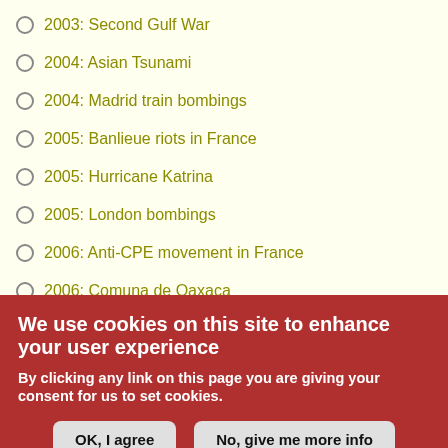2003: Second Gulf War
2004: Asian Tsunami
2004: Madrid train bombings
2005: Banlieue riots in France
2005: Hurricane Katrina
2005: London bombings
2006: Anti-CPE movement in France
2006: Comuna de Oaxaca
2006: Second Lebanon War
2008: Onda movement in Italy
2008: War in Georgia
2009: Israel-Gaza conflict
2009: Post-election crisis in Iran
2001: War in Afghanistan
2001: G8 Summit in Genoa
2001: Piqueteros Movement in Argentina
We use cookies on this site to enhance your user experience
By clicking any link on this page you are giving your consent for us to set cookies.